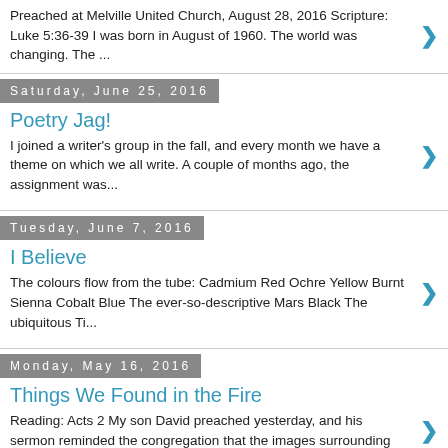Preached at Melville United Church, August 28, 2016 Scripture: Luke 5:36-39 I was born in August of 1960. The world was changing. The ...
Saturday, June 25, 2016
Poetry Jag!
I joined a writer's group in the fall, and every month we have a theme on which we all write. A couple of months ago, the assignment was...
Tuesday, June 7, 2016
I Believe
The colours flow from the tube: Cadmium Red Ochre Yellow Burnt Sienna Cobalt Blue The ever-so-descriptive Mars Black The ubiquitous Ti...
Monday, May 16, 2016
Things We Found in the Fire
Reading: Acts 2 My son David preached yesterday, and his sermon reminded the congregation that the images surrounding Pentecost of "t...